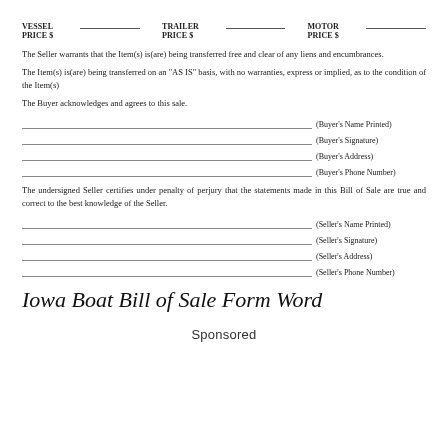VESSEL PRICE $__________ TRAILER PRICE $__________ MOTOR PRICE $__________
The Seller warrants that the Item(s) is(are) being transferred free and clear of any liens and encumbrances.
The Item(s) is(are) being transferred on an "AS IS" basis, with no warranties, express or implied, as to the condition of the Item(s)
The Buyer acknowledges and agrees to this sale.
(Buyer's Name Printed)
(Buyer's Signature)
(Buyer's Address)
(Buyer's Phone Number)
The undersigned Seller certifies under penalty of perjury that the statements made in this Bill of Sale are true and correct to the best knowledge of the Seller.
(Seller's Name Printed)
(Seller's Signature)
(Seller's Address)
(Seller's Phone Number)
Iowa Boat Bill of Sale Form Word
Sponsored